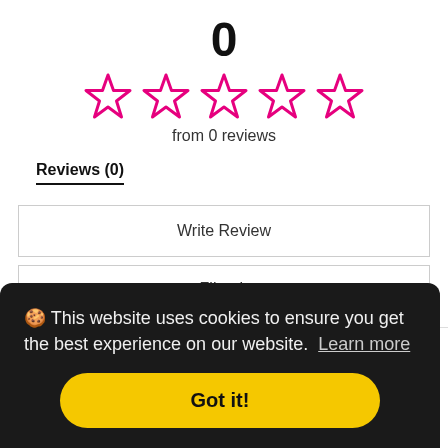0
[Figure (other): Five empty pink/magenta star rating icons in a row]
from 0 reviews
Reviews (0)
Write Review
Filter by
🍪 This website uses cookies to ensure you get the best experience on our website. Learn more
Got it!